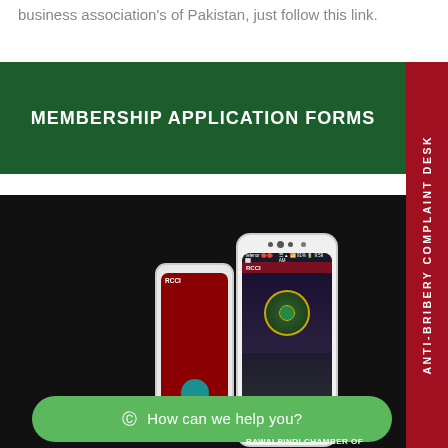business association's of Pakistan, just follow this link.
MEMBERSHIP APPLICATION FORMS
[Figure (screenshot): Side tab with red background and white vertical text reading ANTI-BRIBERY COMPLAINT DESK]
[Figure (photo): Two smartphone mockups showing RCCI (Rawalpindi Chamber of Commerce and Industry) mobile app. The front phone shows a status bar with Telenor carrier and 91% battery at 9:59 AM, the RCCI app with a chamber emblem. The back phone shows a red background with RCCI label and a teal circle. A green WhatsApp-style chat bubble reads 'How can we help you?' at the bottom. The phones are displayed against a dark/black background.]
RAWALPINDI CHAMBER OF